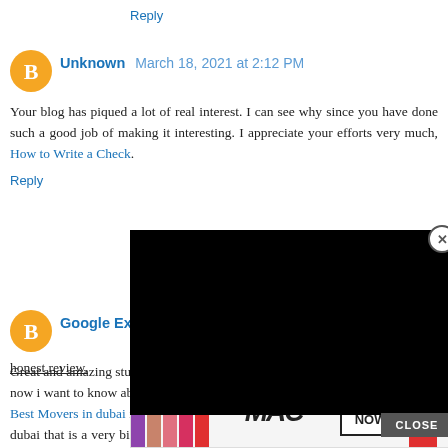Reply
Unknown  March 18, 2021 at 2:12 PM
Your blog has piqued a lot of real interest. I can see why since you have done such a good job of making it interesting. I appreciate your efforts very much, How to Write a Check.
Reply
Google Exam Dumps  May 9, ...
Great and amazing stuff tha... now i want to know about wha... Best Movers in dubai in UAE... dubai that is a very big and trusted moving company. They are working in the field of moving from last 11 years. Improving moving service is our top priority. is it true or not? i need your honest review.